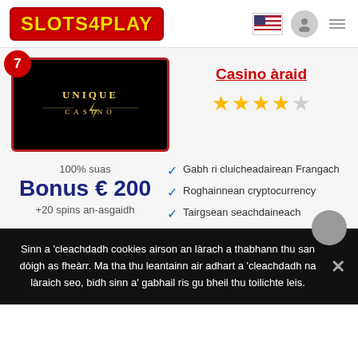SLOTS4PLAY
[Figure (screenshot): Unique Casino logo on black background with red border]
Casino àraid
★★★★☆ (4 out of 5 stars)
100% suas
Bonus € 200
+20 spins an-asgaidh
Gabh ri cluicheadairean Frangach
Roghainnean cryptocurrency
Tairgsean seachdaineach
Sinn a 'cleachdadh cookies airson an làrach a thabhann thu san dòigh as fheàrr. Ma tha thu leantainn air adhart a 'cleachdadh na làraich seo, bidh sinn a' gabhail ris gu bheil thu toilichte leis.